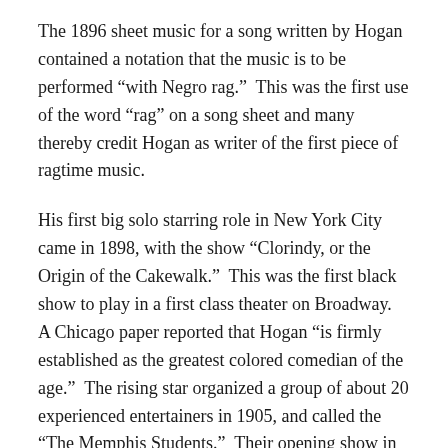The 1896 sheet music for a song written by Hogan contained a notation that the music is to be performed “with Negro rag.”  This was the first use of the word “rag” on a song sheet and many thereby credit Hogan as writer of the first piece of ragtime music.
His first big solo starring role in New York City came in 1898, with the show “Clorindy, or the Origin of the Cakewalk.”  This was the first black show to play in a first class theater on Broadway.  A Chicago paper reported that Hogan “is firmly established as the greatest colored comedian of the age.”  The rising star organized a group of about 20 experienced entertainers in 1905, and called the “The Memphis Students.”  Their opening show in New York was so successful it was held over for 5 months.  This show has been referred to